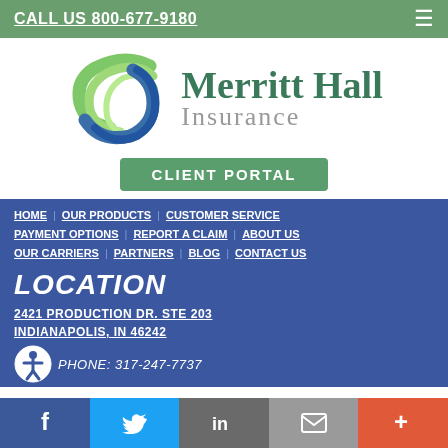CALL US 800-677-9180
[Figure (logo): Merritt Hall Insurance logo with swirl graphic and text]
CLIENT PORTAL
HOME
OUR PRODUCTS
CUSTOMER SERVICE
PAYMENT OPTIONS
REPORT A CLAIM
ABOUT US
OUR CARRIERS
PARTNERS
BLOG
CONTACT US
LOCATION
2421 PRODUCTION DR. STE 203
INDIANAPOLIS, IN 46242
PHONE: 317-247-7737